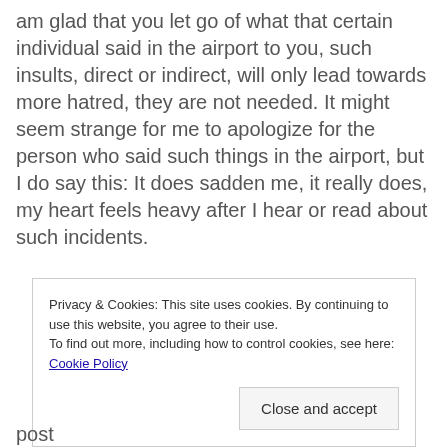am glad that you let go of what that certain individual said in the airport to you, such insults, direct or indirect, will only lead towards more hatred, they are not needed. It might seem strange for me to apologize for the person who said such things in the airport, but I do say this: It does sadden me, it really does, my heart feels heavy after I hear or read about such incidents.
Privacy & Cookies: This site uses cookies. By continuing to use this website, you agree to their use. To find out more, including how to control cookies, see here: Cookie Policy
Close and accept
post